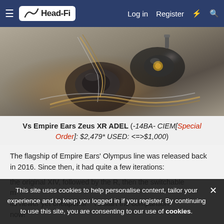Head-Fi — Log in  Register
[Figure (photo): Close-up photo of in-ear monitors (IEMs) with braided copper/silver cable on a dark surface]
Vs Empire Ears Zeus XR ADEL (-14BA- CIEM[Special Order]: $2,479* USED: <=>$1,000)
The flagship of Empire Ears' Olympus line was released back in 2016. Since then, it had quite a few iterations: the original XIV, followed by the R, then the switchable m... its newer yet cheaper si... t's start the comparison now!
This site uses cookies to help personalise content, tailor your experience and to keep you logged in if you register. By continuing to use this site, you are consenting to our use of cookies.